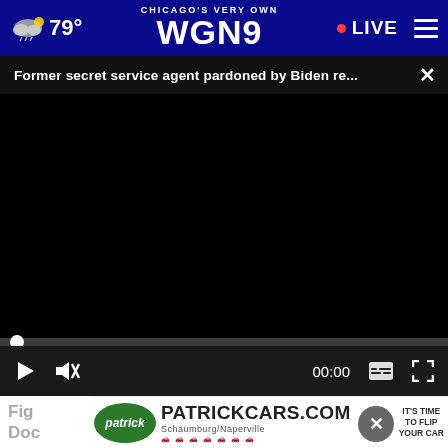CHICAGO'S VERY OWN WGN9  79°  • LIVE
Former secret service agent pardoned by Biden re...
[Figure (screenshot): Black video player with progress bar and controls showing play button, mute button, time 00:00, captions and fullscreen icons]
[Figure (photo): Partial view of fingers holding a walnut]
Fig Doc
[Figure (other): PatrickCars.com advertisement: Schaumburg/Naperville - IT'S TIME TO FLIP YOUR CAR, with car brand logos]